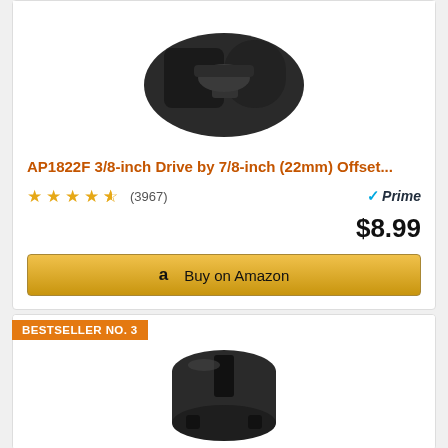[Figure (photo): Black offset socket tool product photo, viewed from above, on white background]
AP1822F 3/8-inch Drive by 7/8-inch (22mm) Offset...
★★★★½ (3967) ✓Prime $8.99
Buy on Amazon
BESTSELLER NO. 3
[Figure (photo): Black cylindrical socket product photo on white background]